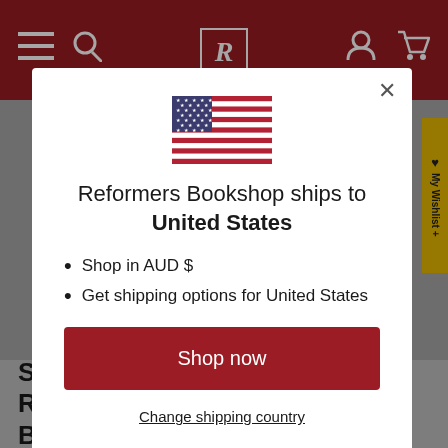[Figure (screenshot): Screenshot of Reformers Bookshop website with dark red header bar, hamburger menu, search icon, R logo, user icon, and cart icon. Background shows a grey page content area.]
[Figure (illustration): United States flag illustration with blue canton with white stars and red and white horizontal stripes.]
Reformers Bookshop ships to United States
Shop in AUD $
Get shipping options for United States
Shop now
Change shipping country
SAVE 10% WITH OUR RECOMMENDED BUNDLE!